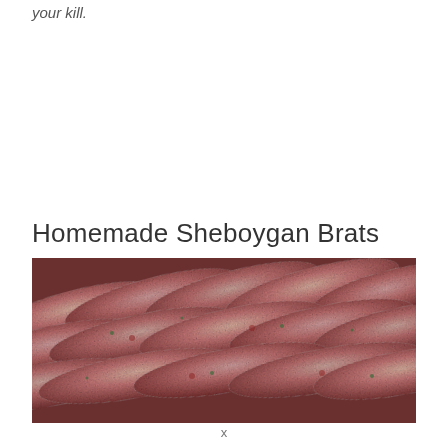your kill.
Homemade Sheboygan Brats
[Figure (photo): Close-up photo of raw homemade Sheboygan bratwurst sausages, showing multiple uncooked links with visible meat and herb flecks, reddish-pink in color, arranged in rows.]
x